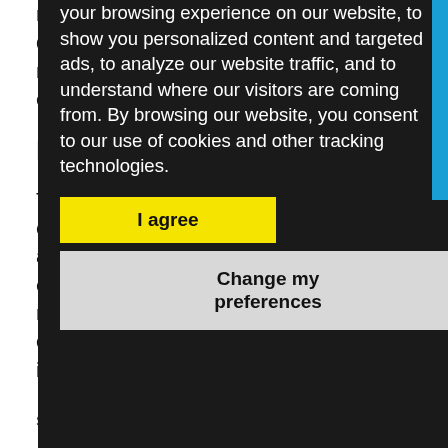may not automatically cause described above — but the military CEOs and more res example, is still there.
BUSINESS APPLIC
The research indicates that experience can, through the and personal traits, reinforc example, conservative inve respond more effectively to conditions. Ex-military CEO if fraud is a concern.
The challenge, according to in that in the past 25 mo
your browsing experience on our website, to show you personalized content and targeted ads, to analyze our website traffic, and to understand where our visitors are coming from. By browsing our website, you consent to our use of cookies and other tracking technologies.
I agree
Change my preferences
Share